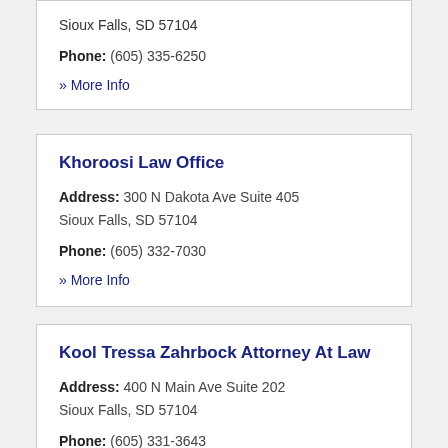Sioux Falls, SD 57104
Phone: (605) 335-6250
» More Info
Khoroosi Law Office
Address: 300 N Dakota Ave Suite 405
Sioux Falls, SD 57104
Phone: (605) 332-7030
» More Info
Kool Tressa Zahrbock Attorney At Law
Address: 400 N Main Ave Suite 202
Sioux Falls, SD 57104
Phone: (605) 331-3643